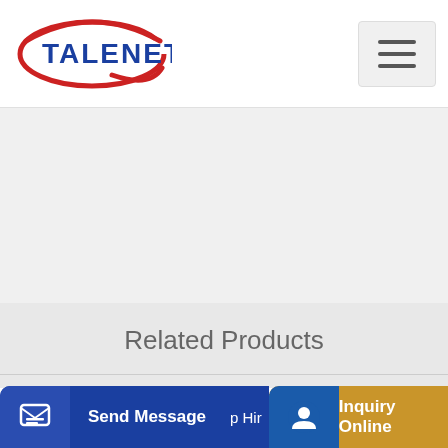[Figure (logo): Talenet company logo with red swoosh and blue text]
Related Products
concrete plant ready mix concrete batching plant for sale
Concrete Pump Turkey Concrete Pump Top Turkish
Send Message
Inquiry Online